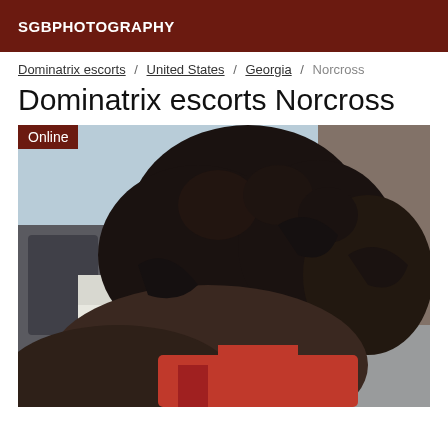SGBPHOTOGRAPHY
Dominatrix escorts / United States / Georgia / Norcross
Dominatrix escorts Norcross
[Figure (photo): A person with dark curly hair viewed from behind, wearing a red top, in a room with a bed and furniture visible in the background. An 'Online' badge is shown in the top-left corner of the image.]